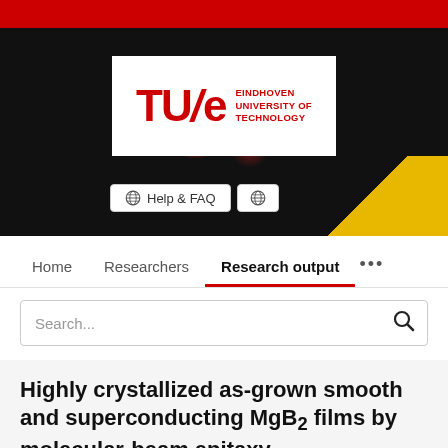[Figure (screenshot): TU/e Eindhoven University of Technology website header with dark background, red bokeh lighting, TU/e logo on white background, Help & FAQ and globe buttons, navigation bar with Home, Researchers, Research output links, search bar, and beginning of article title about MgB2 films]
Highly crystallized as-grown smooth and superconducting MgB2 films by molecular-beam epitaxy